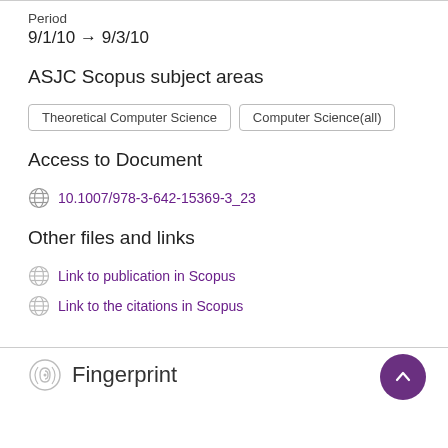Period
9/1/10 → 9/3/10
ASJC Scopus subject areas
Theoretical Computer Science  Computer Science(all)
Access to Document
10.1007/978-3-642-15369-3_23
Other files and links
Link to publication in Scopus
Link to the citations in Scopus
Fingerprint